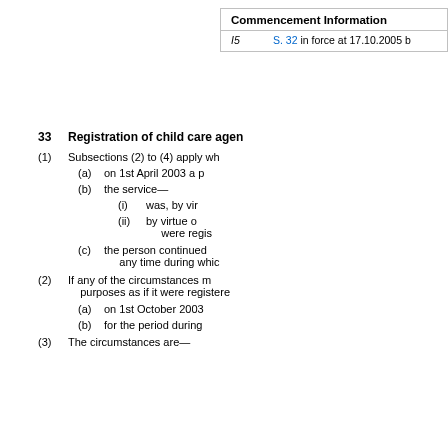| Commencement Information |  |
| --- | --- |
| I5 | S. 32 in force at 17.10.2005 b |
33 Registration of child care agen
(1) Subsections (2) to (4) apply wh
(a) on 1st April 2003 a p
(b) the service—
(i) was, by vir
(ii) by virtue o were regis
(c) the person continued any time during whic
(2) If any of the circumstances m purposes as if it were registere
(a) on 1st October 2003
(b) for the period during
(3) The circumstances are—